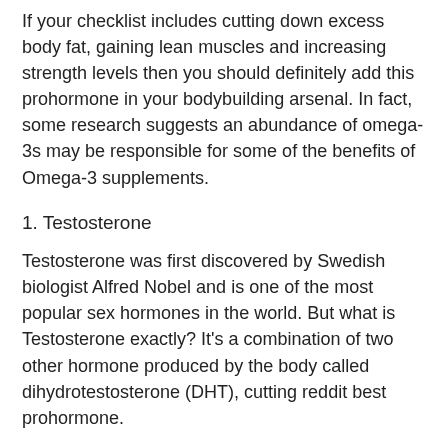If your checklist includes cutting down excess body fat, gaining lean muscles and increasing strength levels then you should definitely add this prohormone in your bodybuilding arsenal. In fact, some research suggests an abundance of omega-3s may be responsible for some of the benefits of Omega-3 supplements.
1. Testosterone
Testosterone was first discovered by Swedish biologist Alfred Nobel and is one of the most popular sex hormones in the world. But what is Testosterone exactly? It's a combination of two other hormone produced by the body called dihydrotestosterone (DHT), cutting reddit best prohormone.
As you might have guessed from the name, Testosterone is a steroid hormone. Steroid hormones are created by the body and can